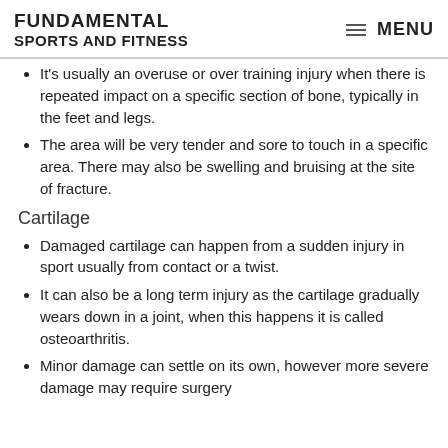FUNDAMENTAL SPORTS AND FITNESS | MENU
It's usually an overuse or over training injury when there is repeated impact on a specific section of bone, typically in the feet and legs.
The area will be very tender and sore to touch in a specific area. There may also be swelling and bruising at the site of fracture.
Cartilage
Damaged cartilage can happen from a sudden injury in sport usually from contact or a twist.
It can also be a long term injury as the cartilage gradually wears down in a joint, when this happens it is called osteoarthritis.
Minor damage can settle on its own, however more severe damage may require surgery